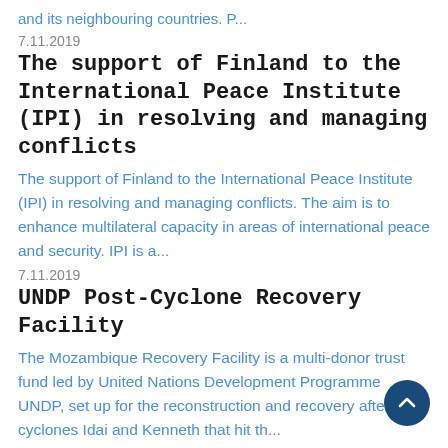and its neighbouring countries. P...
7.11.2019
The support of Finland to the International Peace Institute (IPI) in resolving and managing conflicts
The support of Finland to the International Peace Institute (IPI) in resolving and managing conflicts. The aim is to enhance multilateral capacity in areas of international peace and security. IPI is a...
7.11.2019
UNDP Post-Cyclone Recovery Facility
The Mozambique Recovery Facility is a multi-donor trust fund led by United Nations Development Programme UNDP, set up for the reconstruction and recovery after the cyclones Idai and Kenneth that hit th...
7.11.2019
UNICEF WASH and Education Programmes